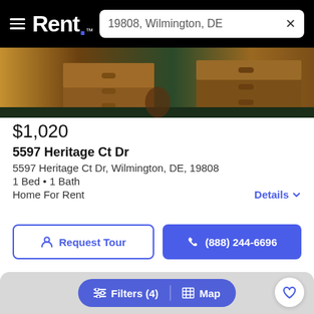Rent. — 19808, Wilmington, DE
[Figure (photo): Interior bedroom photo showing wooden furniture including dressers/drawers on dark carpet]
$1,020
5597 Heritage Ct Dr
5597 Heritage Ct Dr, Wilmington, DE, 19808
1 Bed • 1 Bath
Home For Rent
Details
Request Tour
(888) 244-6696
[Figure (screenshot): Bottom listing card with gray background, heart/favorite button, Filters (4) and Map pill button]